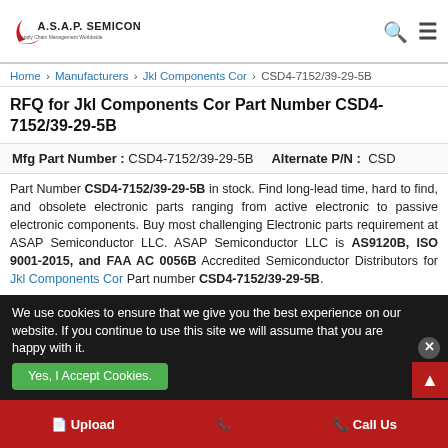[Figure (logo): A.S.A.P. Semiconductor logo with red swoosh and tagline 'Supply Chain Management Worldwide']
Home › Manufacturers › Jkl Components Cor › CSD4-7152/39-29-5B
RFQ for Jkl Components Cor Part Number CSD4-7152/39-29-5B
Mfg Part Number : CSD4-7152/39-29-5B    Alternate P/N :  CSD
Part Number CSD4-7152/39-29-5B in stock. Find long-lead time, hard to find, and obsolete electronic parts ranging from active electronic to passive electronic components. Buy most challenging Electronic parts requirement at ASAP Semiconductor LLC. ASAP Semiconductor LLC is AS9120B, ISO 9001-2015, and FAA AC 0056B Accredited Semiconductor Distributors for Jkl Components Cor Part number CSD4-7152/39-29-5B.
ASAP Semiconductor LLC is AS9120B, ISO 9001:2015, and FAA AC 0056B, Aviation Suppliers Association Member Distributor for Part Number CSD4-7152/39-29-5B.
We use cookies to ensure that we give you the best experience on our website. If you continue to use this site we will assume that you are happy with it.
Yes, I Accept Cookies.